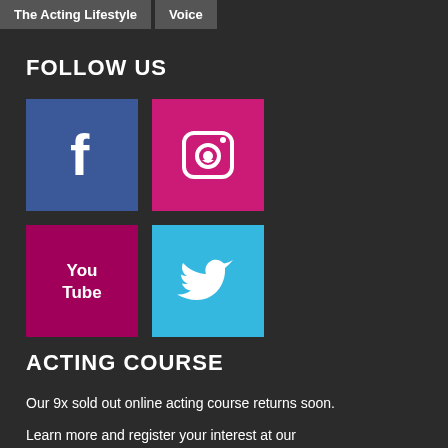The Acting Lifestyle | Voice
FOLLOW US
[Figure (logo): Facebook logo icon — white 'f' on blue background]
[Figure (logo): Instagram camera icon on pink/magenta background]
[Figure (logo): YouTube logo — white 'You Tube' text on dark pink/magenta background]
[Figure (logo): Twitter bird logo — white bird on light blue background]
ACTING COURSE
Our 9x sold out online acting course returns soon.
Learn more and register your interest at our